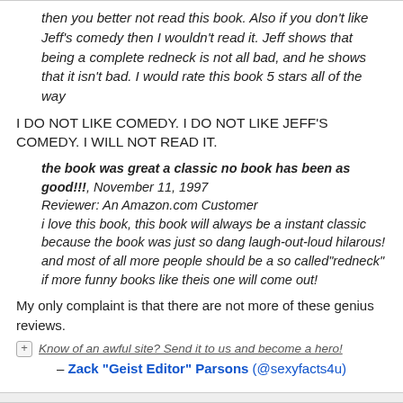then you better not read this book. Also if you don't like Jeff's comedy then I wouldn't read it. Jeff shows that being a complete redneck is not all bad, and he shows that it isn't bad. I would rate this book 5 stars all of the way
I DO NOT LIKE COMEDY. I DO NOT LIKE JEFF'S COMEDY. I WILL NOT READ IT.
the book was great a classic no book has been as good!!!, November 11, 1997
Reviewer: An Amazon.com Customer
i love this book, this book will always be a instant classic because the book was just so dang laugh-out-loud hilarous! and most of all more people should be a so called"redneck" if more funny books like theis one will come out!
My only complaint is that there are not more of these genius reviews.
Know of an awful site? Send it to us and become a hero!
– Zack "Geist Editor" Parsons (@sexyfacts4u)